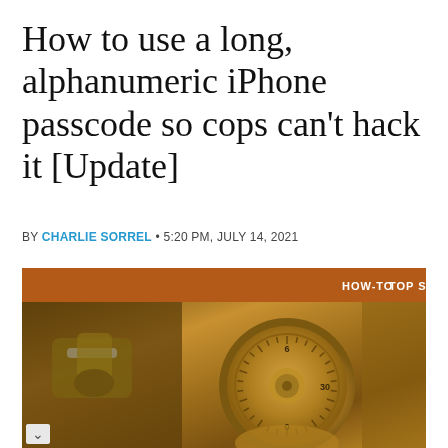How to use a long, alphanumeric iPhone passcode so cops can't hack it [Update]
BY CHARLIE SORREL • 5:20 PM, JULY 14, 2021
[Figure (photo): Close-up photo of a brass combination lock dial on a safe door, with category tags HOW-TO and TOP STORIES in an orange-brown banner at the top]